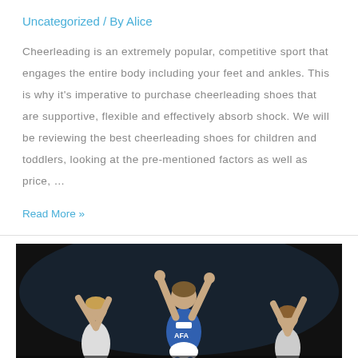Uncategorized / By Alice
Cheerleading is an extremely popular, competitive sport that engages the entire body including your feet and ankles. This is why it's imperative to purchase cheerleading shoes that are supportive, flexible and effectively absorb shock. We will be reviewing the best cheerleading shoes for children and toddlers, looking at the pre-mentioned factors as well as price, …
Read More »
[Figure (photo): Photo of cheerleaders performing with arms raised in a dark indoor arena, wearing blue and white uniforms]